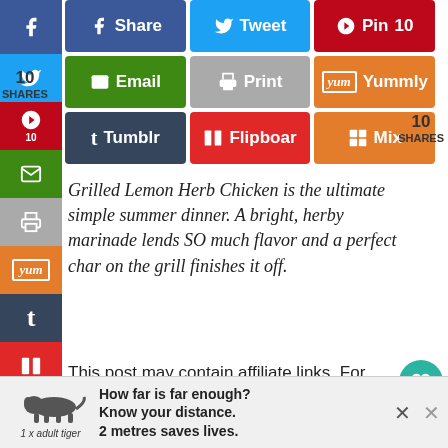[Figure (screenshot): Social share buttons row 1: Facebook Share, Twitter Tweet, Pinterest Pin 10]
[Figure (screenshot): Social share buttons row 2: Email, Print, Yummly]
[Figure (screenshot): Social share buttons row 3: Tumblr, Flipboard, Mix]
[Figure (screenshot): Left sidebar social share buttons: Facebook, Twitter, Pinterest (10), Email, Print, Yummly, Tumblr, Flipboard]
Grilled Lemon Herb Chicken is the ultimate simple summer dinner. A bright, herby marinade lends SO much flavor and a perfect char on the grill finishes it off.
This post may contain affiliate links. For more information, please read my disclosure policy.
If you're looking for an easy yet flavorful dinner that the entire family will...
[Figure (screenshot): Advertisement banner: tiger illustration, text 'How far is far enough? Know your distance. 2 metres saves lives. 1 x adult tiger']